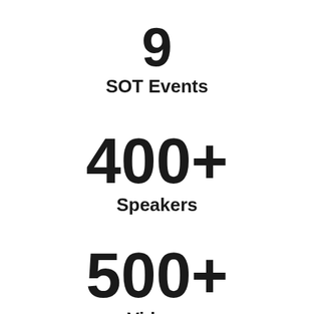9 SOT Events
400+ Speakers
500+ Videos